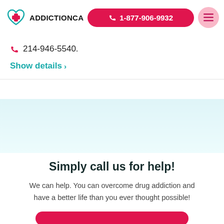ADDICTIONCA | 1-877-906-9932
214-946-5540.
Show details >
Simply call us for help!
We can help. You can overcome drug addiction and have a better life than you ever thought possible!